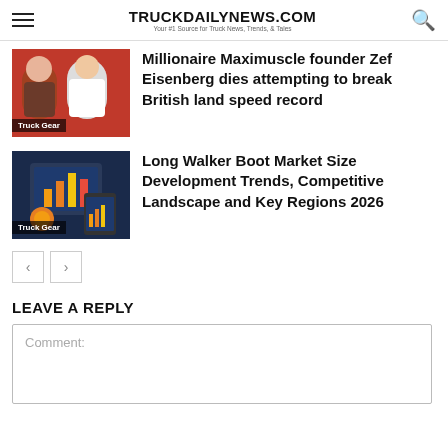TRUCKDAILYNEWS.COM — Your #1 Source for Truck News, Trends, & Tales
[Figure (photo): Two men posing, with label 'Truck Gear']
Millionaire Maximuscle founder Zef Eisenberg dies attempting to break British land speed record
[Figure (photo): Bar chart graphic on tablet/phone devices, with label 'Truck Gear']
Long Walker Boot Market Size Development Trends, Competitive Landscape and Key Regions 2026
LEAVE A REPLY
Comment: